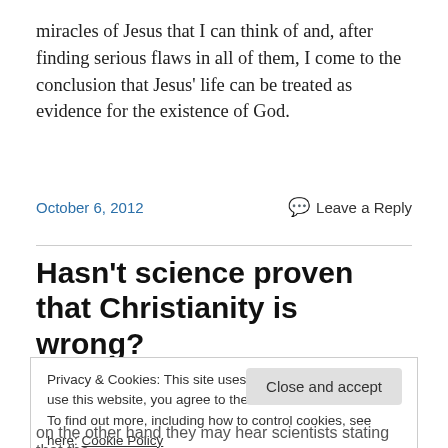miracles of Jesus that I can think of and, after finding serious flaws in all of them, I come to the conclusion that Jesus' life can be treated as evidence for the existence of God.
October 6, 2012
Leave a Reply
Hasn't science proven that Christianity is wrong?
Privacy & Cookies: This site uses cookies. By continuing to use this website, you agree to their use.
To find out more, including how to control cookies, see here: Cookie Policy
Close and accept
on the other hand they may hear scientists stating that the